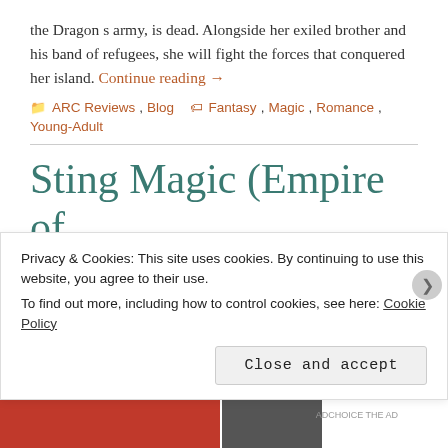the Dragon s army, is dead. Alongside her exiled brother and his band of refugees, she will fight the forces that conquered her island. Continue reading →
ARC Reviews, Blog  Fantasy, Magic, Romance, Young-Adult
Sting Magic (Empire of War and Wings #1) By
Privacy & Cookies: This site uses cookies. By continuing to use this website, you agree to their use.
To find out more, including how to control cookies, see here: Cookie Policy
Close and accept